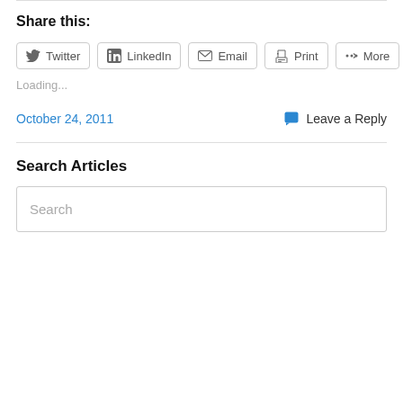Share this:
[Figure (other): Social sharing buttons: Twitter, LinkedIn, Email, Print, More]
Loading...
October 24, 2011
Leave a Reply
Search Articles
[Figure (other): Search input box with placeholder text 'Search']